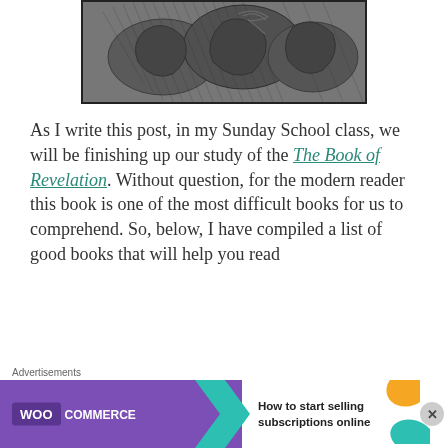[Figure (illustration): Black and white woodcut-style illustration showing horses and figures in a dramatic, dense composition, partially cropped at top of page.]
As I write this post, in my Sunday School class, we will be finishing up our study of the The Book of Revelation. Without question, for the modern reader this book is one of the most difficult books for us to comprehend. So, below, I have compiled a list of good books that will help you read Revelation and bring it to life...
Advertisements
[Figure (other): WooCommerce advertisement banner: 'How to start selling subscriptions online' with purple WooCommerce logo and teal/orange decorative swoosh shapes.]